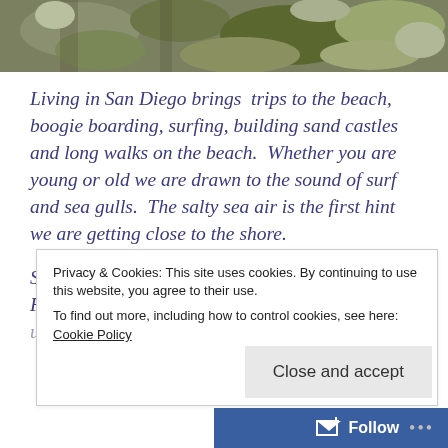[Figure (photo): Top strip of a garden/rock scene with succulents and plants viewed from above, muted greens and grays.]
Living in San Diego brings  trips to the beach, boogie boarding, surfing, building sand castles and long walks on the beach.  Whether you are young or old we are drawn to the sound of surf and sea gulls.  The salty sea air is the first hint we are getting close to the shore.
Some years ago, Tom & I went to the Del Mar Fair and Jeff Moore had done this amazing
Privacy & Cookies: This site uses cookies. By continuing to use this website, you agree to their use.
To find out more, including how to control cookies, see here: Cookie Policy
Close and accept
Follow